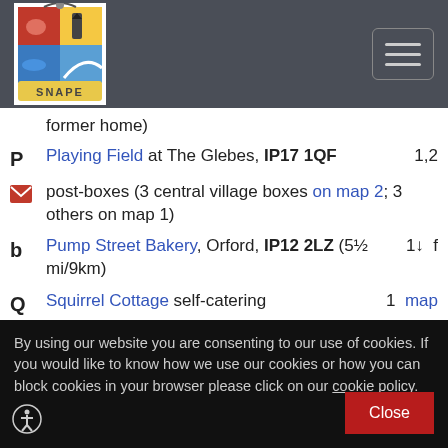[Figure (logo): Snape village sign logo with coat of arms shield]
[Figure (other): Hamburger menu button with three horizontal lines]
former home)
P  Playing Field at The Glebes, IP17 1QF   1,2
post-boxes (3 central village boxes on map 2; 3 others on map 1)
p  Pump Street Bakery, Orford, IP12 2LZ (5½ mi/9km)   1↓   f
Q  Squirrel Cottage self-catering   1  map
R  repairs, car/van hire: Snape Motor Co (R1060)   2
By using our website you are consenting to our use of cookies. If you would like to know how we use our cookies or how you can block cookies in your browser please click on our cookie policy.